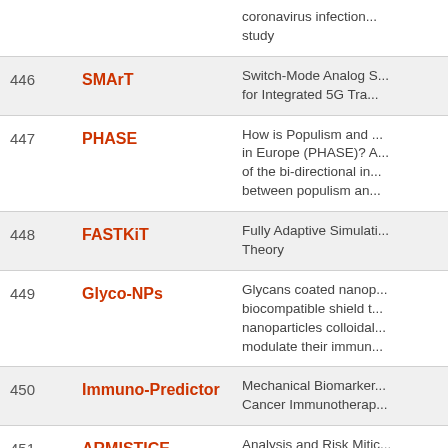| # | Acronym | Title |
| --- | --- | --- |
|  |  | coronavirus infection... study |
| 446 | SMArT | Switch-Mode Analog S... for Integrated 5G Tra... |
| 447 | PHASE | How is Populism and ... in Europe (PHASE)? A ... of the bi-directional in... between populism an... |
| 448 | FASTKiT | Fully Adaptive Simulati... Theory |
| 449 | Glyco-NPs | Glycans coated nanop... biocompatible shield t... nanoparticles colloidal... modulate their immun... |
| 450 | Immuno-Predictor | Mechanical Biomarker... Cancer Immunotherap... |
| 451 | ARMISTICE | Analysis and Risk Mitic... |